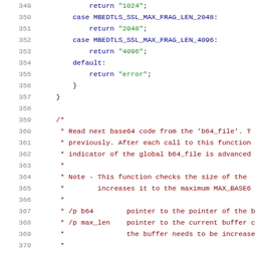Source code listing lines 349-370, C language code with switch-case and comment block